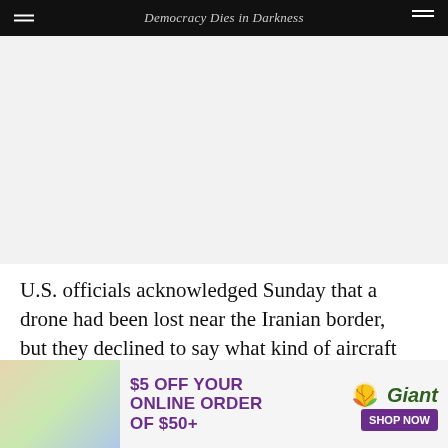Democracy Dies in Darkness
[Figure (other): Advertisement placeholder area (gray background)]
U.S. officials acknowledged Sunday that a drone had been lost near the Iranian border, but they declined to say what kind of aircraft was missing.
The Iranian government has not released any pictures of
[Figure (other): Giant Food advertisement: $5 OFF YOUR ONLINE ORDER OF $50+ SHOP NOW]